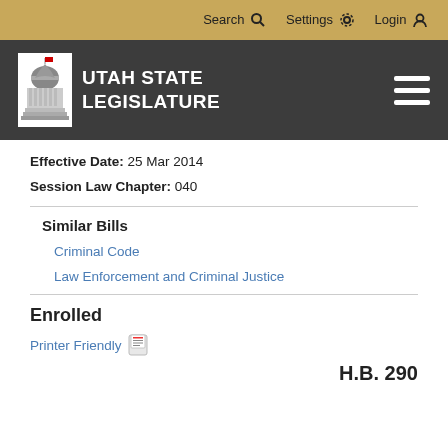Search  Settings  Login
[Figure (logo): Utah State Legislature logo with capitol building icon and text UTAH STATE LEGISLATURE on dark background with hamburger menu]
Effective Date: 25 Mar 2014
Session Law Chapter: 040
Similar Bills
Criminal Code
Law Enforcement and Criminal Justice
Enrolled
Printer Friendly
H.B. 290